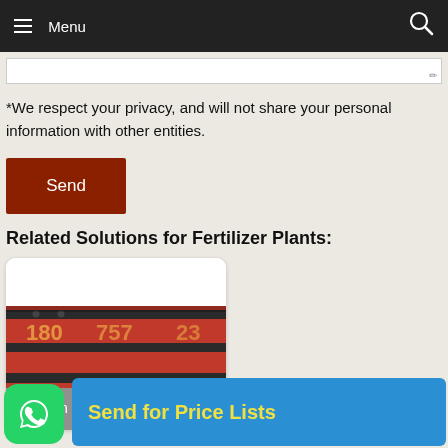Menu
*We respect your privacy, and will not share your personal information with other entities.
Send
Related Solutions for Fertilizer Plants:
[Figure (photo): Photo of a red cylindrical Chicken Manure Pellet Machine with black bands, shown inside a rounded card with grey label overlay reading 'Chicken Manure Pellet Machine']
[Figure (logo): WhatsApp icon - green rounded square with white phone handset inside speech bubble]
Send for Price Lists